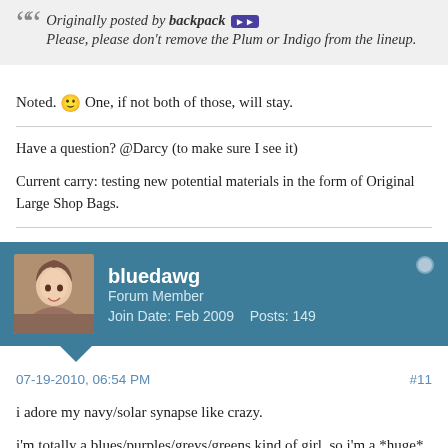Originally posted by backpack — Please, please don't remove the Plum or Indigo from the lineup.
Noted. 🙂 One, if not both of those, will stay.
Have a question? @Darcy (to make sure I see it)
Current carry: testing new potential materials in the form of Original Large Shop Bags.
bluedawg — Forum Member — Join Date: Feb 2009   Posts: 149
07-19-2010, 06:54 PM   #11
i adore my navy/solar synapse like crazy.
i'm totally a blues/purples/greys/greens kind of girl, so i'm a *huge* fan of navy, indigo, steel, and (to a slightly lesser